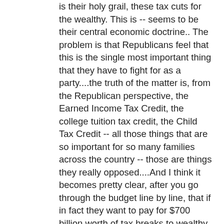is their holy grail, these tax cuts for the wealthy. This is -- seems to be their central economic doctrine.. The problem is that Republicans feel that this is the single most important thing that they have to fight for as a party....the truth of the matter is, from the Republican perspective, the Earned Income Tax Credit, the college tuition tax credit, the Child Tax Credit -- all those things that are so important for so many families across the country -- those are things they really opposed....And I think it becomes pretty clear, after you go through the budget line by line, that if in fact they want to pay for $700 billion worth of tax breaks to wealthy individuals, that that's a lot of money and that the cuts -- corresponding cuts that would have to be made are very painful. So either they rethink their position, or I don't think they're going to do very well in 2012.
And his own priorities, short-term:
My number one priority is to do what's right for the American people, for jobs, and for economic